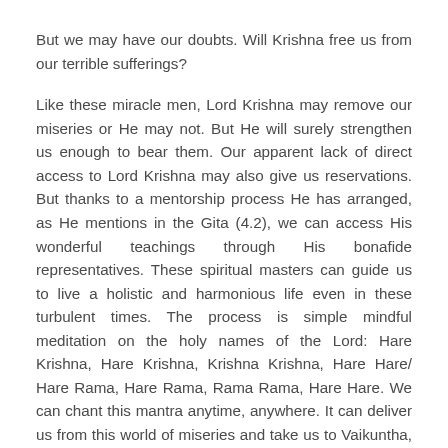But we may have our doubts. Will Krishna free us from our terrible sufferings?
Like these miracle men, Lord Krishna may remove our miseries or He may not. But He will surely strengthen us enough to bear them. Our apparent lack of direct access to Lord Krishna may also give us reservations. But thanks to a mentorship process He has arranged, as He mentions in the Gita (4.2), we can access His wonderful teachings through His bonafide representatives. These spiritual masters can guide us to live a holistic and harmonious life even in these turbulent times. The process is simple mindful meditation on the holy names of the Lord: Hare Krishna, Hare Krishna, Krishna Krishna, Hare Hare/ Hare Rama, Hare Rama, Rama Rama, Hare Hare. We can chant this mantra anytime, anywhere. It can deliver us from this world of miseries and take us to Vaikuntha, the place of all peace and love. Try it. It’s free. Murari Gupta Dasa, a disciple of His Holiness Radhanatha Swami, has a Bachelor’s degree in medicine and